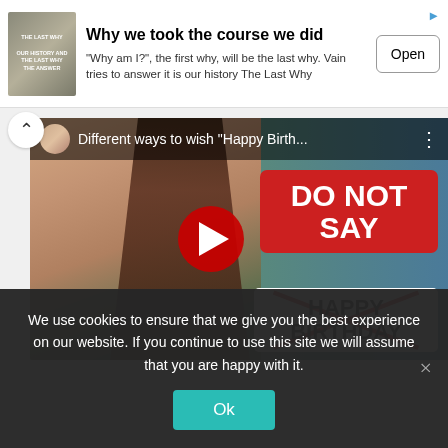[Figure (screenshot): Advertisement banner for 'The Last Why' book/app showing book cover image, title 'Why we took the course we did', description text, and Open button]
Why we took the course we did
"Why am I?", the first why, will be the last why. Vain tries to answer it is our history The Last Why
[Figure (screenshot): YouTube video thumbnail showing a woman with 'DO NOT SAY' red badge and crossed-out 'HAPPY BIRTHDAY' text, titled 'Different ways to wish Happy Birth...' with play button overlay]
Different ways to wish "Happy Birth..."
We use cookies to ensure that we give you the best experience on our website. If you continue to use this site we will assume that you are happy with it.